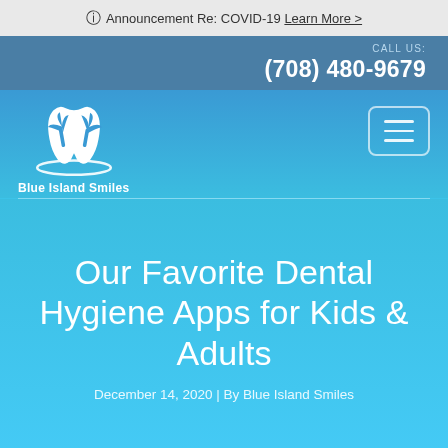ℹ Announcement Re: COVID-19 Learn More >
CALL US: (708) 480-9679
[Figure (logo): Blue Island Smiles logo — white tooth with palm trees and oval base, with text 'Blue Island Smiles' below]
Our Favorite Dental Hygiene Apps for Kids & Adults
December 14, 2020 | By Blue Island Smiles